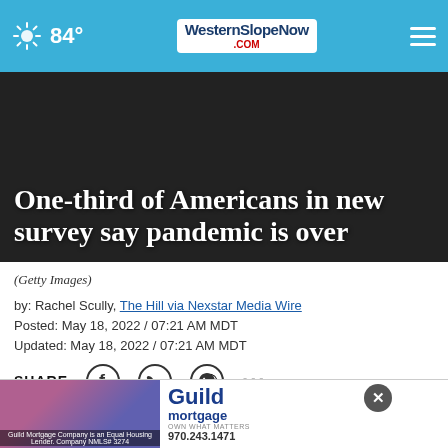84° | WesternSlopeNow.com
One-third of Americans in new survey say pandemic is over
(Getty Images)
by: Rachel Scully, The Hill via Nexstar Media Wire
Posted: May 18, 2022 / 07:21 AM MDT
Updated: May 18, 2022 / 07:21 AM MDT
SHARE
(The Hill) — Nearly one in three Americans questioned in a new survey say the pandemic is
[Figure (photo): Guild Mortgage advertisement with group photo of employees. Text: Guild mortgage OWN WHAT MATTERS 970.243.1471. Guild Mortgage Company is an Equal Housing Lender. Company NMLS# 3274]